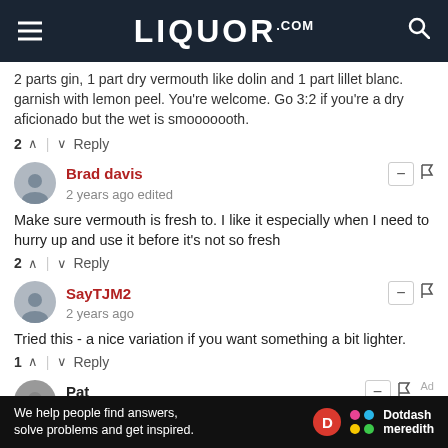LIQUOR.COM
2 parts gin, 1 part dry vermouth like dolin and 1 part lillet blanc. garnish with lemon peel. You're welcome. Go 3:2 if you're a dry aficionado but the wet is smooooooth.
2 ^ | v Reply
Brad davis
2 years ago edited
Make sure vermouth is fresh to. I like it especially when I need to hurry up and use it before it's not so fresh
2 ^ | v Reply
SayTJM2
2 years ago
Tried this - a nice variation if you want something a bit lighter.
1 ^ | v Reply
Pat
We help people find answers, solve problems and get inspired. Dotdash meredith